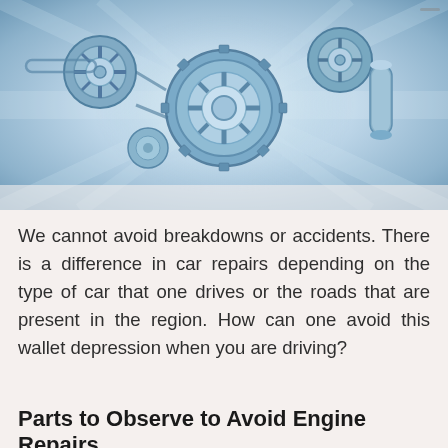[Figure (photo): Close-up photo of car engine components — gears, pulleys, belts, and mechanical parts rendered in blue-tinted tones with motion blur effect, giving an industrial/mechanical feel.]
We cannot avoid breakdowns or accidents. There is a difference in car repairs depending on the type of car that one drives or the roads that are present in the region. How can one avoid this wallet depression when you are driving?
Parts to Observe to Avoid Engine Repairs